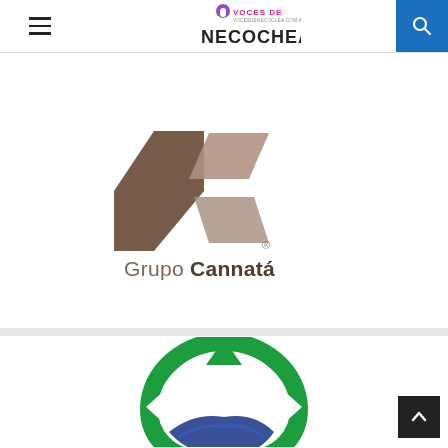Voces de Necochea
[Figure (logo): Grupo Cannatá logo: geometric brown and taupe chevron/hexagon shapes forming a stylized 'C', with registered trademark symbol, and the text 'Grupo Cannatá' below]
[Figure (logo): BERSA logo: circular green arrow recycling symbol with blue hand/wave underneath, partial text visible at bottom]